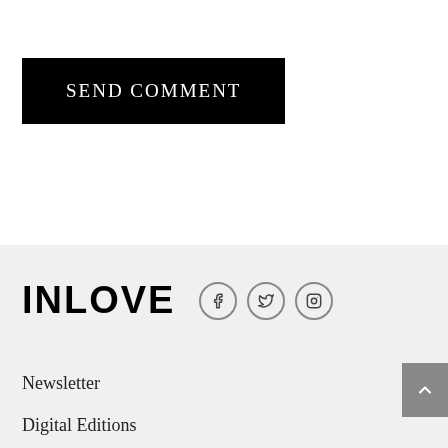SEND COMMENT
[Figure (logo): INLOVE magazine logo with Facebook, Twitter, and Instagram social media icons]
Newsletter
Digital Editions